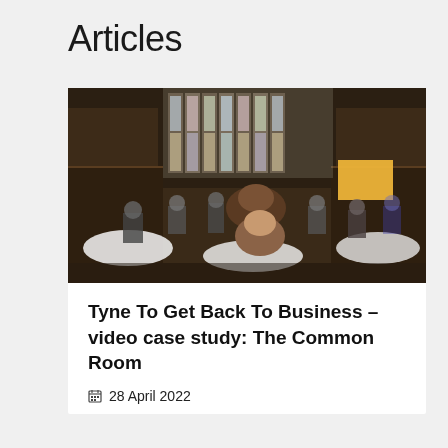Articles
[Figure (photo): Interior of a grand historic hall with ornate wooden panelling, tall stained glass windows, and people seated at round tables for a business event, with a presentation screen at the front.]
Tyne To Get Back To Business – video case study: The Common Room
28 April 2022